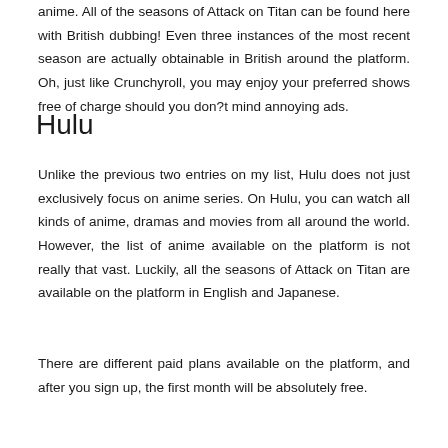anime. All of the seasons of Attack on Titan can be found here with British dubbing! Even three instances of the most recent season are actually obtainable in British around the platform. Oh, just like Crunchyroll, you may enjoy your preferred shows free of charge should you don?t mind annoying ads.
Hulu
Unlike the previous two entries on my list, Hulu does not just exclusively focus on anime series. On Hulu, you can watch all kinds of anime, dramas and movies from all around the world. However, the list of anime available on the platform is not really that vast. Luckily, all the seasons of Attack on Titan are available on the platform in English and Japanese.
There are different paid plans available on the platform, and after you sign up, the first month will be absolutely free.